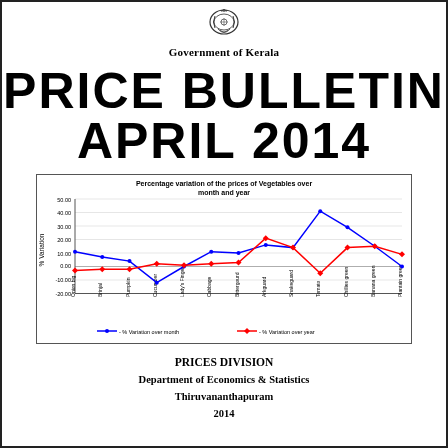[Figure (logo): Government of Kerala emblem/seal at top center]
Government of Kerala
PRICE BULLETIN APRIL 2014
[Figure (line-chart): Percentage variation of the prices of Vegetables over month and year]
PRICES DIVISION
Department of Economics & Statistics
Thiruvananthapuram
2014